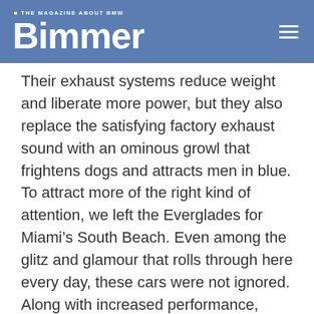THE MAGAZINE ABOUT BMW Bimmer
Their exhaust systems reduce weight and liberate more power, but they also replace the satisfying factory exhaust sound with an ominous growl that frightens dogs and attracts men in blue. To attract more of the right kind of attention, we left the Everglades for Miami’s South Beach. Even among the glitz and glamour that rolls through here every day, these cars were not ignored. Along with increased performance, audience appreciation is part of the reward for building cars like this, and Marray’s and LaPadula’s M3s received it in spades.
As for how much it costs, a rough estimate